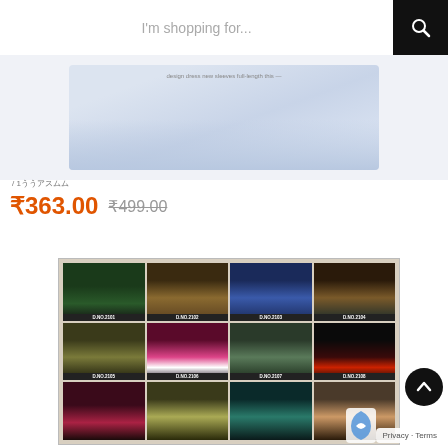[Figure (screenshot): E-commerce product page showing search bar at top, fabric product image, price in Indian Rupees, and catalog grid of kurtas/kurtis with design numbers]
I'm shopping for...
[Figure (photo): Light blue/white fabric material product image]
/ 1ううアスムム
₹363.00 ₹499.00
[Figure (photo): Catalog grid showing 12 kurti/kurta designs labeled D.NO.2101 through D.NO.2108 and more, displayed in 4 columns on brown background]